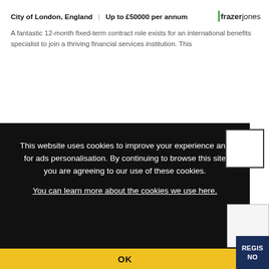City of London, England | Up to £50000 per annum
[Figure (logo): Frazer Jones logo with green vertical bar]
A fantastic 12-month fixed-term contract role exists for an international benefits specialist to join a thriving financial services institution. This
This website uses cookies to improve your experience and for ads personalisation. By continuing to browse this site you are agreeing to our use of these cookies.
You can learn more about the cookies we use here.
OK
REGIS NOW